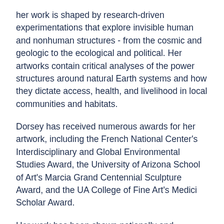her work is shaped by research-driven experimentations that explore invisible human and nonhuman structures - from the cosmic and geologic to the ecological and political. Her artworks contain critical analyses of the power structures around natural Earth systems and how they dictate access, health, and livelihood in local communities and habitats.
Dorsey has received numerous awards for her artwork, including the French National Center's Interdisciplinary and Global Environmental Studies Award, the University of Arizona School of Art's Marcia Grand Centennial Sculpture Award, and the UA College of Fine Art's Medici Scholar Award.
Her work has been shown nationally and internationally at Biosphere 2, AZ; Tucson Museum of Contemporary Art, AZ; the Duderstadt Center in Ann Arbor, MI, Inscape Arts in Seattle, WA; Harpa Kaldalón in Reykjavik, Iceland; Sonic